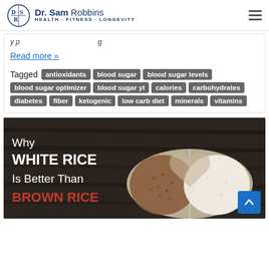Dr. Sam Robbins - Health · Fitness · Longevity
y p …
Read more »
Tagged antioxidants  blood sugar  blood sugar levels  blood sugar optimizer  blood sugar yt  calories  carbohydrates  diabetes  fiber  ketogenic  low carb diet  minerals  vitamins
[Figure (photo): Heart-shaped bowl split with brown rice on one side and white rice on the other, on a dark wood background. Text overlay reads: Why WHITE RICE Is Better Than BROWN RICE]